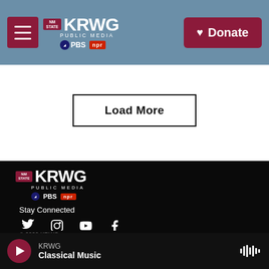KRWG Public Media — Navigation bar with hamburger menu and Donate button
Load More
[Figure (logo): KRWG Public Media logo with PBS and NPR badges on black footer background]
Stay Connected
[Figure (infographic): Social media icons: Twitter, Instagram, YouTube, Facebook]
© 2022 KRWG
KRWG Classical Music